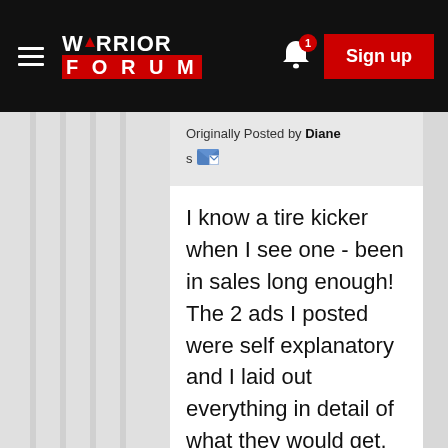[Figure (logo): Warrior Forum logo with hamburger menu, bell notification icon with badge '1', and red Sign up button in black header bar]
Originally Posted by Diane s
I know a tire kicker when I see one - been in sales long enough! The 2 ads I posted were self explanatory and I laid out everything in detail of what they would get. The first person that responded literally asked me 8 or 9 questions. Why even waste the time for